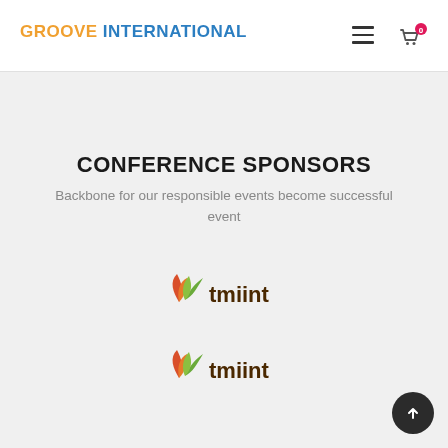GROOVE INTERNATIONAL
CONFERENCE SPONSORS
Backbone for our responsible events become successful event
[Figure (logo): tmiint logo with leaf icon — orange/red and green leaves with dark brown text 'tmiint']
[Figure (logo): tmiint logo with leaf icon — orange/red and green leaves with dark brown text 'tmiint' (second instance)]